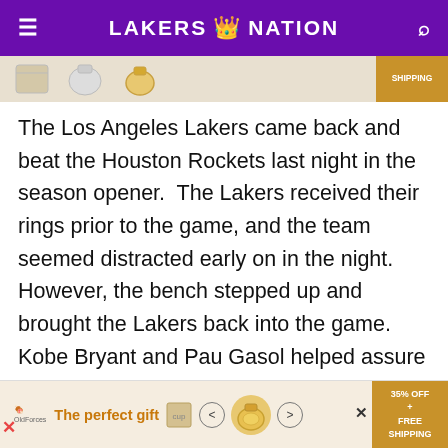LAKERS NATION
[Figure (infographic): Partial advertisement banner with product images and SHIPPING label on right side]
The Los Angeles Lakers came back and beat the Houston Rockets last night in the season opener.  The Lakers received their rings prior to the game, and the team seemed distracted early on in the night.  However, the bench stepped up and brought the Lakers back into the game.  Kobe Bryant and Pau Gasol helped assure a victory, while Steve Blake hit the game winning shot.  The Lakers have started the season 1-0 after beating the Rockets, 112-110.   Five key moments in last night's game
[Figure (infographic): Bottom advertisement banner: The perfect gift with product carousel and 35% OFF + FREE SHIPPING label]